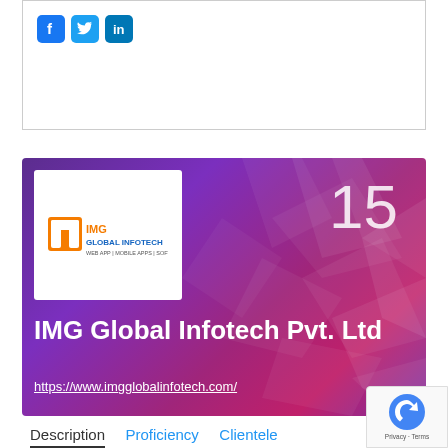[Figure (screenshot): Social media icons: Facebook, Twitter, LinkedIn in a white bordered box]
[Figure (illustration): Purple gradient banner with geometric triangle pattern, IMG Global Infotech Pvt. Ltd logo (white box top-left), number 15 top-right, company name and URL in white text]
IMG Global Infotech Pvt. Ltd
https://www.imgglobalinfotech.com/
Description   Proficiency   Clientele
IMG Global Infotech is an ISO 9001:2008